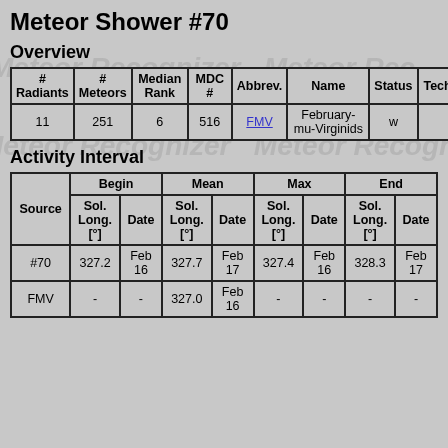Meteor Shower #70
Overview
| # Radiants | # Meteors | Median Rank | MDC # | Abbrev. | Name | Status | Tech |
| --- | --- | --- | --- | --- | --- | --- | --- |
| 11 | 251 | 6 | 516 | FMV | February-mu-Virginids | w |  |
Activity Interval
| Source | Begin Sol. Long. [°] | Begin Date | Mean Sol. Long. [°] | Mean Date | Max Sol. Long. [°] | Max Date | End Sol. Long. [°] | End Date |
| --- | --- | --- | --- | --- | --- | --- | --- | --- |
| #70 | 327.2 | Feb 16 | 327.7 | Feb 17 | 327.4 | Feb 16 | 328.3 | Feb 17 |
| FMV | - | - | 327.0 | Feb 16 | - | - | - | - |